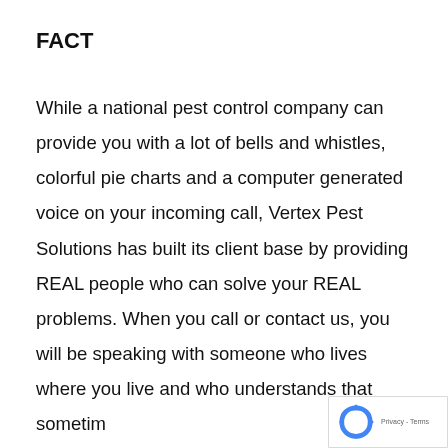FACT
While a national pest control company can provide you with a lot of bells and whistles, colorful pie charts and a computer generated voice on your incoming call, Vertex Pest Solutions has built its client base by providing REAL people who can solve your REAL problems. When you call or contact us, you will be speaking with someone who lives where you live and who understands that sometimes a friendly, knowledgeable voice on the other